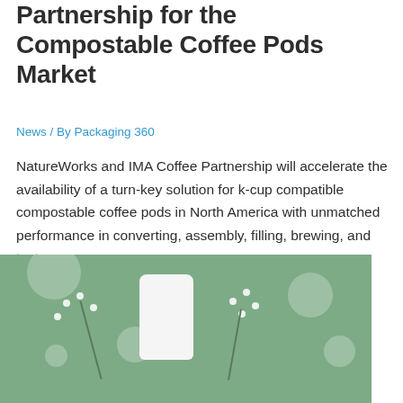Partnership for the Compostable Coffee Pods Market
News / By Packaging 360
NatureWorks and IMA Coffee Partnership will accelerate the availability of a turn-key solution for k-cup compatible compostable coffee pods in North America with unmatched performance in converting, assembly, filling, brewing, and taste.
[Figure (photo): Photo of a white cylindrical coffee pod surrounded by small white flowers on a sage green background]